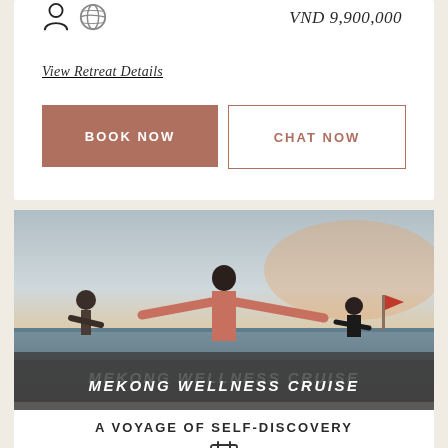VND 9,900,000
View Retreat Details
BOOK NOW
CHAT NOW
[Figure (photo): Group of people doing yoga or exercise on a boat deck at sunset, arms outstretched, viewed from behind]
MEKONG WELLNESS CRUISE
A VOYAGE OF SELF-DISCOVERY